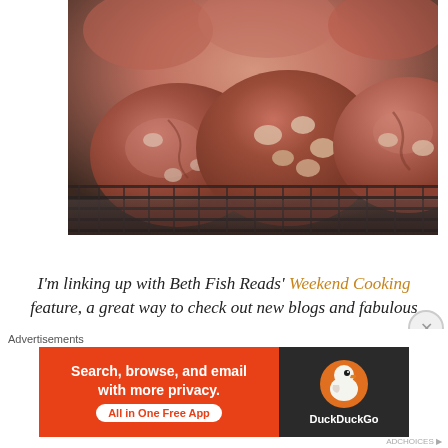[Figure (photo): Close-up photo of chocolate cookies on a wire cooling rack. The cookies appear to be chocolate-based with white chocolate chips or nuts, photographed from a low angle showing their texture and cracked tops.]
I'm linking up with Beth Fish Reads' Weekend Cooking feature, a great way to check out new blogs and fabulous
Advertisements
[Figure (screenshot): DuckDuckGo advertisement banner: orange/red left side with text 'Search, browse, and email with more privacy. All in One Free App' and dark right side with DuckDuckGo duck logo and brand name.]